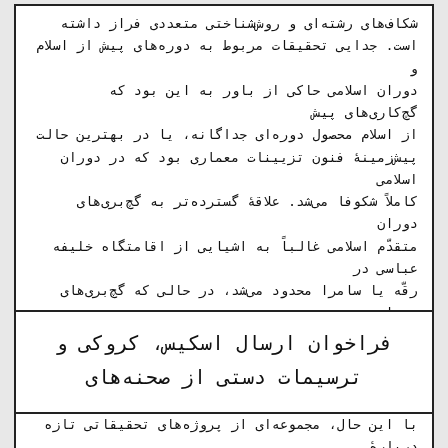شکاف‌های رشته‌ای و روش‌شناختی متعددی فراز داشته است. جدایی تحقیقات مربوط به دوره‌های پیش از اسلام و دوران اسلامی حاکی از باور به این بود که گچ‌کاری‌های پیش از اسلام محصول دوره‌ای جداگانه، یا در بهترین حالت پیش‌زمینهٔ فنون تزیینات معماری بود که در دوران اسلامی کاملاً شکوفا می‌شد. علاقهٔ گسترده‌تر به گچ‌بری‌های دوران متقدّم اسلامی غالباً به اشیایی از اقامتگاه خلیفه عباسی در رقّه یا سامرا محدود می‌شد، در حالی که گچ‌بری‌های دوران متقدّم در سایر مناطق ناشناخته باقی مانده بود و یا متّکی به همان محوطه‌های موجود در میان‌رودان تلقی می شدند. با این حال، مجموعه‌ای از پروژه‌های تحقیقاتی تازه دربارهٔ تزیینات گچی وضع قبلی پژوهش‌ها را تغییر داده است. با بررسی مجدد یافته‌های کارهای میدانی قدیم و نیز یافته‌های حاصل از کارهای تازه (مثلاً از کاوش‌های بلخ و غزنی)، سؤالات جدیدی مطرح شده است. در کنار تجدیدنظر در بعضی آرا و گروه‌بندی‌های مجدد آنها، توجّه و علاقه...
۲۲ فروردین ۱۴۰۱
فراخوان ارسال اسکیس، کروکی و ترسیمات دستی از صحنه‌های